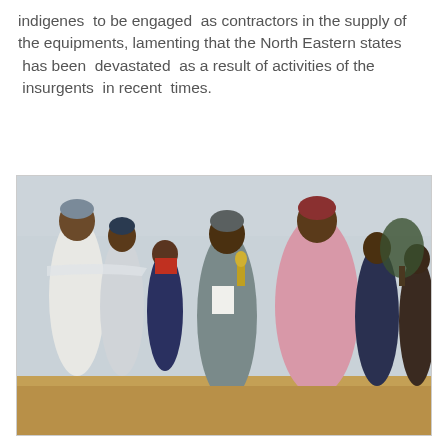indigenes to be engaged as contractors in the supply of the equipments, lamenting that the North Eastern states has been devastated as a result of activities of the insurgents in recent times.
[Figure (photo): A group of people standing outdoors on sandy ground. A man in a grey traditional robe holds a microphone and papers, appearing to address others. To his right stands a man in a pink traditional garment. Other men in traditional attire are visible in the background, along with what appears to be an aircraft and a tree.]